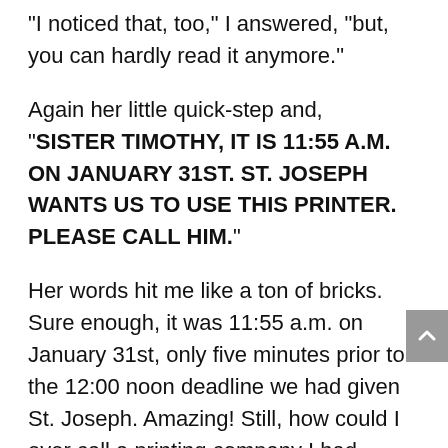“I noticed that, too,” I answered, “but, you can hardly read it anymore.”
Again her little quick-step and, “SISTER TIMOTHY, IT IS 11:55 A.M. ON JANUARY 31ST. ST. JOSEPH WANTS US TO USE THIS PRINTER. PLEASE CALL HIM.”
Her words hit me like a ton of bricks. Sure enough, it was 11:55 a.m. on January 31st, only five minutes prior to the 12:00 noon deadline we had given St. Joseph. Amazing! Still, how could I ever call a printing company I had never heard of and ask outright if they would donate their printing services for a newsletter for a group of Catholic Sisters.
After our noon prayers, as we were all walking to